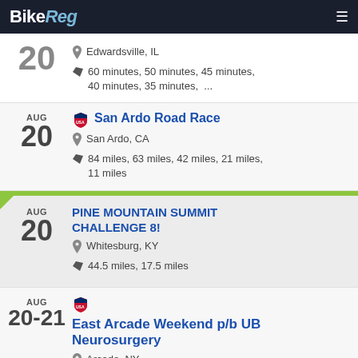BikeReg
20 | Edwardsville, IL | 60 minutes, 50 minutes, 45 minutes, 40 minutes, 35 minutes, ...
San Ardo Road Race | AUG 20 | San Ardo, CA | 84 miles, 63 miles, 42 miles, 21 miles, 11 miles
PINE MOUNTAIN SUMMIT CHALLENGE 8! | AUG 20 | Whitesburg, KY | 44.5 miles, 17.5 miles
East Arcade Weekend p/b UB Neurosurgery | AUG 20-21 | Arcade, NY | 56 miles, 40 miles, 32 miles, 75 minutes, 50 minutes